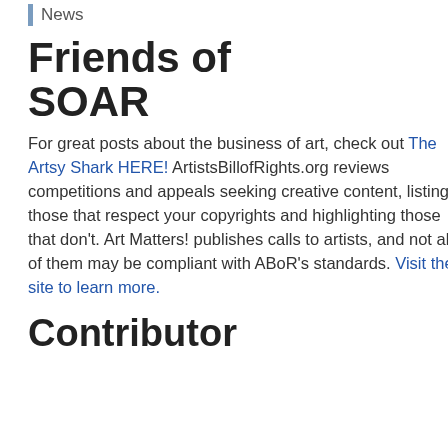News
Friends of SOAR
For great posts about the business of art, check out The Artsy Shark HERE! ArtistsBillofRights.org reviews competitions and appeals seeking creative content, listing those that respect your copyrights and highlighting those that don't. Art Matters! publishes calls to artists, and not all of them may be compliant with ABoR's standards. Visit their site to learn more.
Contributor
r k s h o p w i t h R o n